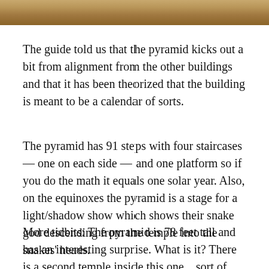[Figure (photo): Partial photograph of a pyramid or ancient stone structure, showing a warm sandy/wooden textured surface cropped to a horizontal strip at the top of the page.]
The guide told us that the pyramid kicks out a bit from alignment from the other buildings and that it has been theorized that the building is meant to be a calendar of sorts.
The pyramid has 91 steps with four staircases — one on each side — and one platform so if you do the math it equals one solar year. Also, on the equinoxes the pyramid is a stage for a light/shadow show which shows their snake god descending from the temple into the snakes' heads.
More tidbits: The pyramid is 78 feet tall and has an interesting surprise. What is it? There is a second temple inside this one…sort of like Russian nesting dolls. Inside this there for their is on the second and...